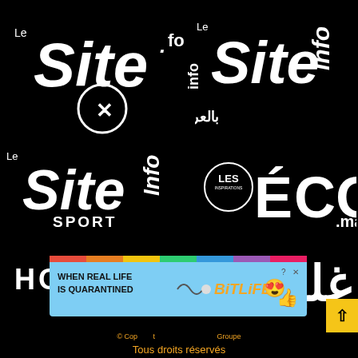[Figure (logo): Le Site.info logo (French, row 1 left) with circle X mark]
[Figure (logo): Le Site.info Arabic version logo (row 1 right)]
[Figure (logo): Le Site.info Sport logo (row 2 left)]
[Figure (logo): Les Inspirations ECO.ma logo (row 2 right)]
[Figure (logo): Horizon TV logo (row 3 left)]
[Figure (logo): Arabic magazine logo (row 3 right)]
[Figure (screenshot): BitLife advertisement banner: WHEN REAL LIFE IS QUARANTINED - BitLife game ad with emoji]
© Cop... Groupe  Tous droits réservés